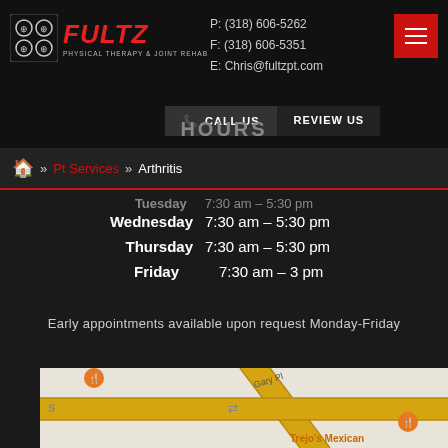Fultz Physical Therapy & Joint Rehab | P: (318) 606-5262 | F: (318) 606-5351 | E: Chris@fultzpt.com
» Pt Services » Arthritis
Tuesday   7:30 am – 5:30 pm
| Day | Hours |
| --- | --- |
| Wednesday | 7:30 am – 5:30 pm |
| Thursday | 7:30 am – 5:30 pm |
| Friday | 7:30 am – 3 pm |
Early appointments available upon request Monday-Friday
[Figure (map): Google Maps view showing Gary Pl street intersection with a yellow road, restaurant pins including Trejo's Mexican]